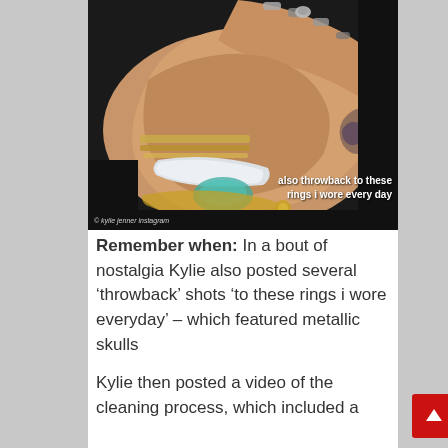[Figure (photo): Close-up photo of hands wearing multiple rings including metallic skull rings and bracelets including a white cuff bracelet and gold bangles. Text overlay reads 'also throwback to these rings i wore every day'. Photo credit: kylie jenner instagram.]
Remember when: In a bout of nostalgia Kylie also posted several ‘throwback’ shots ‘to these rings i wore everyday’ – which featured metallic skulls
Kylie then posted a video of the cleaning process, which included a